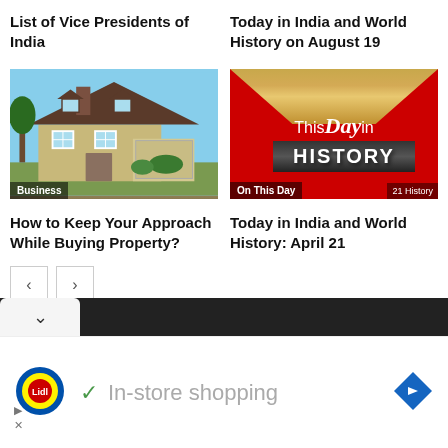List of Vice Presidents of India
Today in India and World History on August 19
[Figure (photo): Suburban house with brown roof, white garage, blue sky background. Badge: Business]
[Figure (photo): This Day in History red banner image with book pages. Badge: On This Day | 21 History]
How to Keep Your Approach While Buying Property?
Today in India and World History: April 21
< >
In-store shopping